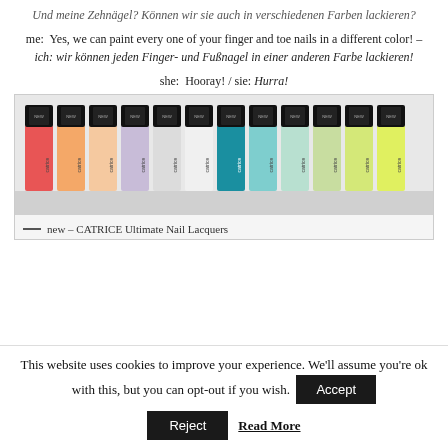Und meine Zehnägel? Können wir sie auch in verschiedenen Farben lackieren?
me: Yes, we can paint every one of your finger and toe nails in a different color! – ich: wir können jeden Finger- und Fußnagel in einer anderen Farbe lackieren!
she: Hooray! / sie: Hurra!
[Figure (photo): A row of colorful nail polish bottles from the CATRICE brand, showing various colors including coral, peach, lavender, white, teal, mint, and lime green.]
new – CATRICE Ultimate Nail Lacquers
This website uses cookies to improve your experience. We'll assume you're ok with this, but you can opt-out if you wish. Accept Reject Read More